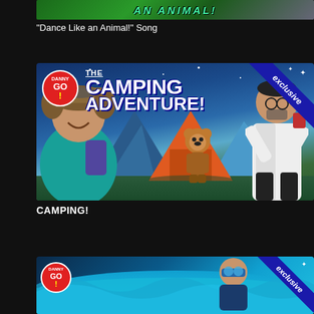[Figure (screenshot): Partial thumbnail of 'Dance Like an Animal!' video showing green background with stylized text]
"Dance Like an Animal!" Song
[Figure (screenshot): Thumbnail for 'The Camping Adventure!' Danny GO! exclusive video featuring a man with backpack, animated tent, bear, and another person in a lab coat against a blue mountain background with 'exclusive' ribbon]
CAMPING!
[Figure (screenshot): Partial thumbnail of another Danny GO! exclusive video showing a person in waves/ocean background with 'exclusive' ribbon]